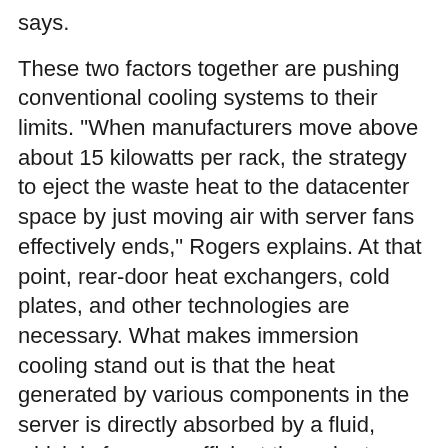says.
These two factors together are pushing conventional cooling systems to their limits. "When manufacturers move above about 15 kilowatts per rack, the strategy to eject the waste heat to the datacenter space by just moving air with server fans effectively ends," Rogers explains. At that point, rear-door heat exchangers, cold plates, and other technologies are necessary. What makes immersion cooling stand out is that the heat generated by various components in the server is directly absorbed by a fluid, which is far more efficient than air at dissipating heat.
As heat densities grow, the challenges mount. "Blowing air across components is inefficient and removing heat from air is mechanically expensive," Rogers says. Direct Liquid Cooling (DLC), which also goes by the name Direct-to-Chip, at best can extract only 70% of the heat. Meanwhile, water-based cooling systems, a subset of DLC, are used broadly, but they utilize cold plates circulating water near hot components and must rely on